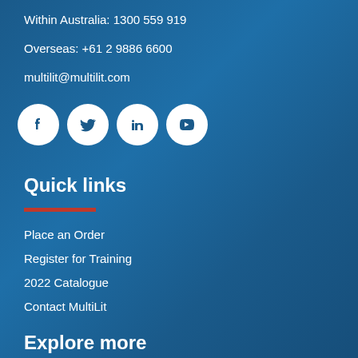Within Australia: 1300 559 919
Overseas: +61 2 9886 6600
multilit@multilit.com
[Figure (illustration): Four white circular social media icons: Facebook, Twitter, LinkedIn, YouTube on dark blue background]
Quick links
Place an Order
Register for Training
2022 Catalogue
Contact MultiLit
Explore more